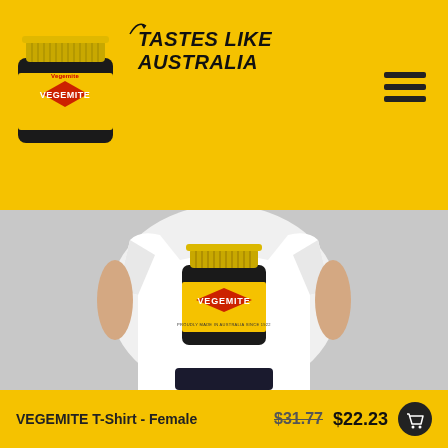Tastes Like Australia
[Figure (photo): Vegemite branded product page screenshot showing a woman wearing a white t-shirt with a Vegemite jar graphic printed on the front. Yellow header with Vegemite jar logo and 'Tastes Like Australia' tagline. Hamburger menu icon top right.]
VEGEMITE T-Shirt - Female
$31.77 $22.23